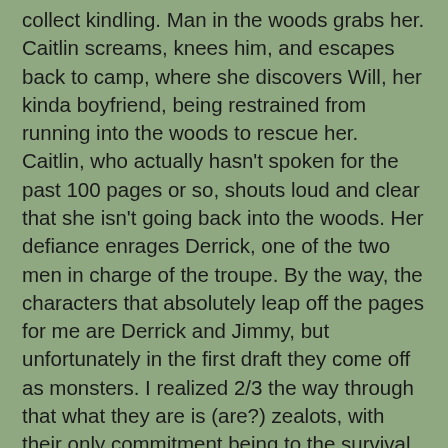collect kindling. Man in the woods grabs her. Caitlin screams, knees him, and escapes back to camp, where she discovers Will, her kinda boyfriend, being restrained from running into the woods to rescue her. Caitlin, who actually hasn't spoken for the past 100 pages or so, shouts loud and clear that she isn't going back into the woods. Her defiance enrages Derrick, one of the two men in charge of the troupe. By the way, the characters that absolutely leap off the pages for me are Derrick and Jimmy, but unfortunately in the first draft they come off as monsters. I realized 2/3 the way through that what they are is (are?) zealots, with their only commitment being to the survival of the troupe. I love that, but in the revision, I will have to tone them down.
The Dead Town: Because of a tornado, supplies haven't gotten to a town where the troupe has performed. It's suggested that they go to the nearest federal city to see if they can be paid there. When they get there, Caitlin, Jimmy and Rashad (Derrick's nephew) walk into the city (for reasons that make sense within the story, but are too complicated and embarrassing to go into here). There they find heaps and tons of dead people. They return to the troupe to report their findings. Most likely they return just...